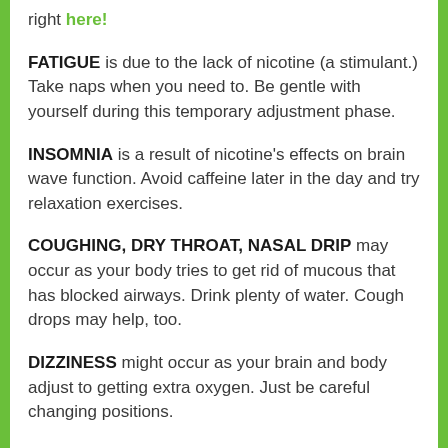right here!
FATIGUE is due to the lack of nicotine (a stimulant.) Take naps when you need to. Be gentle with yourself during this temporary adjustment phase.
INSOMNIA is a result of nicotine's effects on brain wave function. Avoid caffeine later in the day and try relaxation exercises.
COUGHING, DRY THROAT, NASAL DRIP may occur as your body tries to get rid of mucous that has blocked airways. Drink plenty of water. Cough drops may help, too.
DIZZINESS might occur as your brain and body adjust to getting extra oxygen. Just be careful changing positions.
LACK OF CONCENTRATION can happen as your brain and body adjust to the lack of stimulation from nicotine. Please...